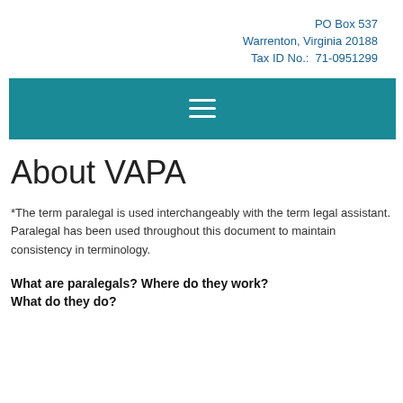PO Box 537
Warrenton, Virginia 20188
Tax ID No.:  71-0951299
[Figure (other): Teal navigation banner with hamburger menu icon (three horizontal white lines)]
About VAPA
*The term paralegal is used interchangeably with the term legal assistant. Paralegal has been used throughout this document to maintain consistency in terminology.
What are paralegals? Where do they work? What do they do?